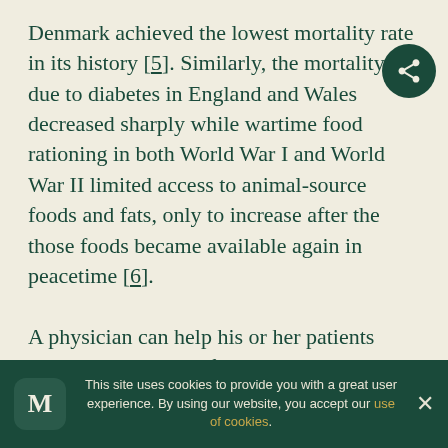Denmark achieved the lowest mortality rate in its history [5]. Similarly, the mortality due to diabetes in England and Wales decreased sharply while wartime food rationing in both World War I and World War II limited access to animal-source foods and fats, only to increase after the those foods became available again in peacetime [6].

A physician can help his or her patients achieve similar benefits by teaching them to eat a low-fat (≤10% of calories), high-fiber, high-carbohydrate (~80% of calories), purely plant-based (vegan) diet [7–14]. The goal of
This site uses cookies to provide you with a great user experience. By using our website, you accept our use of cookies.